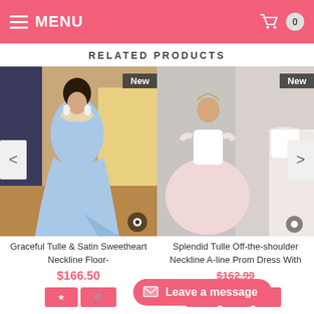MENU | Cart: 0
RELATED PRODUCTS
[Figure (photo): Woman in light blue mermaid/sweetheart neckline floor-length gown, 'New' badge]
Graceful Tulle & Satin Sweetheart Neckline Floor-
$166.50
[Figure (photo): Woman in off-the-shoulder ball gown with pink/white tulle, 'New' badge]
Splendid Tulle Off-the-shoulder Neckline A-line Prom Dress With
$162.99
Leave a message